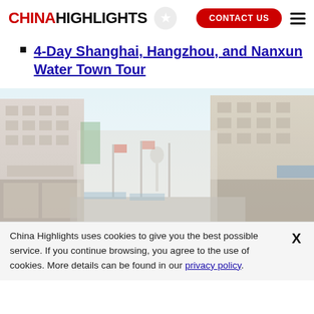CHINAHIGHLIGHTS | CONTACT US
4-Day Shanghai, Hangzhou, and Nanxun Water Town Tour
[Figure (photo): Street scene with tall buildings in Shanghai, faded/washed-out appearance, showing historic architecture along a commercial street with the Oriental Pearl Tower visible in the background]
China Highlights uses cookies to give you the best possible service. If you continue browsing, you agree to the use of cookies. More details can be found in our privacy policy.